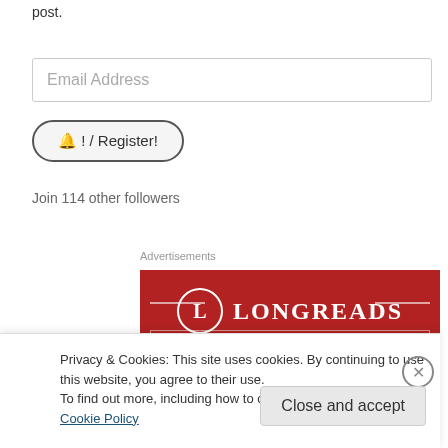post.
Email Address
🔔 ! / Register!
Join 114 other followers
Advertisements
[Figure (logo): Longreads advertisement banner with red background showing L logo circle and LONGREADS text]
Privacy & Cookies: This site uses cookies. By continuing to use this website, you agree to their use.
To find out more, including how to control cookies, see here: Cookie Policy
Close and accept